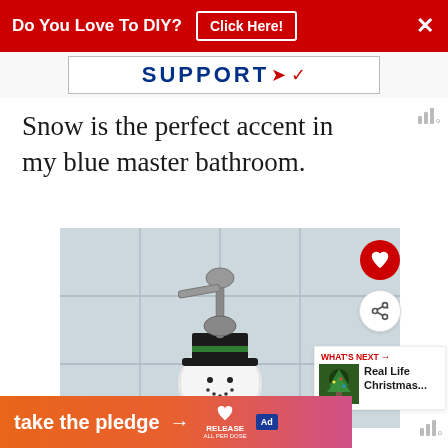[Figure (screenshot): Red banner advertisement: 'Do You Love To DIY? Click Here!' with X close button]
[Figure (screenshot): Support bar advertisement with blue SUPPORT text and red swoosh logo]
Snow is the perfect accent in my blue master bathroom.
[Figure (photo): Photo of a snowman-themed soap dispenser with a metal pump on a white tile bathroom countertop]
[Figure (screenshot): Bottom orange-to-pink gradient banner: 'take the pledge → RELEASE' with heart icon and ad badge]